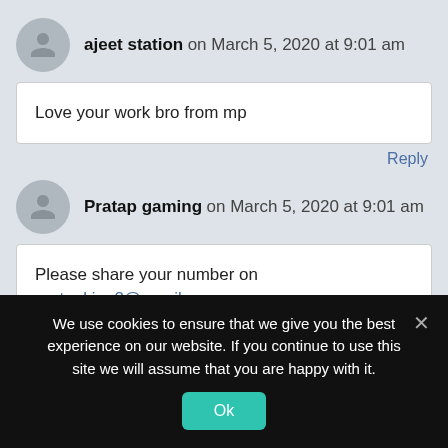ajeet station on March 5, 2020 at 9:01 am
Love your work bro from mp
Reply
Pratap gaming on March 5, 2020 at 9:01 am
Please share your number on pratapking2@gmail.com
Reply
We use cookies to ensure that we give you the best experience on our website. If you continue to use this site we will assume that you are happy with it.
Ok